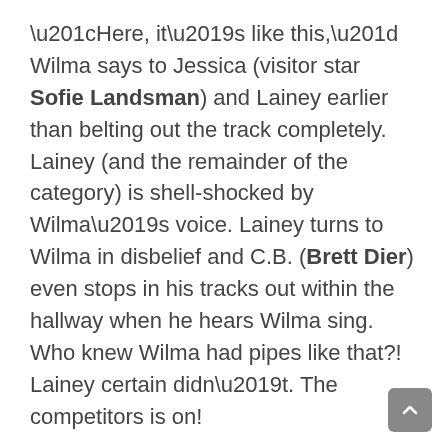“Here, it’s like this,” Wilma says to Jessica (visitor star Sofie Landsman) and Lainey earlier than belting out the track completely. Lainey (and the remainder of the category) is shell-shocked by Wilma’s voice. Lainey turns to Wilma in disbelief and C.B. (Brett Dier) even stops in his tracks out within the hallway when he hears Wilma sing. Who knew Wilma had pipes like that?! Lainey certain didn’t. The competitors is on!
The synopsis for the March 18 episode of the present reads: “While preparing students for the school’s show choir, Lainey realizes Wilma might be a better singer than her and gets competitive. Meanwhile, Coach Mellor and Aunt Julie fight over how to parent Toby.” Schooled season 2 airs